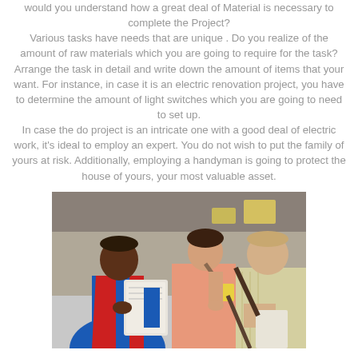would you understand how a great deal of Material is necessary to complete the Project? Various tasks have needs that are unique . Do you realize of the amount of raw materials which you are going to require for the task? Arrange the task in detail and write down the amount of items that your want. For instance, in case it is an electric renovation project, you have to determine the amount of light switches which you are going to need to set up. In case the do project is an intricate one with a good deal of electric work, it's ideal to employ an expert. You do not wish to put the family of yours at risk. Additionally, employing a handyman is going to protect the house of yours, your most valuable asset.
[Figure (photo): A store worker in a red vest and blue shirt showing documents to a woman in a pink shirt and a man in a light yellow shirt, in a store setting.]